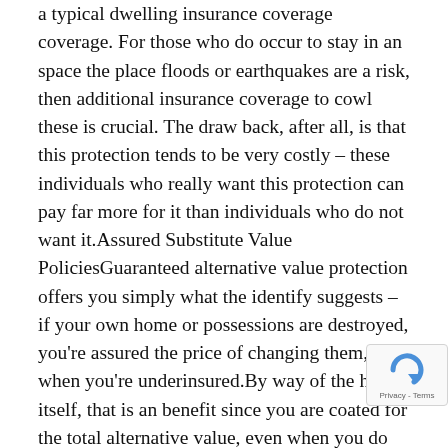a typical dwelling insurance coverage coverage. For those who do occur to stay in an space the place floods or earthquakes are a risk, then additional insurance coverage to cowl these is crucial. The draw back, after all, is that this protection tends to be very costly – these individuals who really want this protection can pay far more for it than individuals who do not want it.Assured Substitute Value PoliciesGuaranteed alternative value protection offers you simply what the identify suggests – if your own home or possessions are destroyed, you're assured the price of changing them, even when you're underinsured.By way of the house itself, that is an benefit since you are coated for the total alternative value, even when you do not know what the truly prices might be. Assured alternative value protection can be a good suggestion for sure of possessions, resembling digital gear. Computer systems, for instance, depreciate in a short time –
[Figure (other): reCAPTCHA badge with spinning arrow icon and Privacy - Terms text]